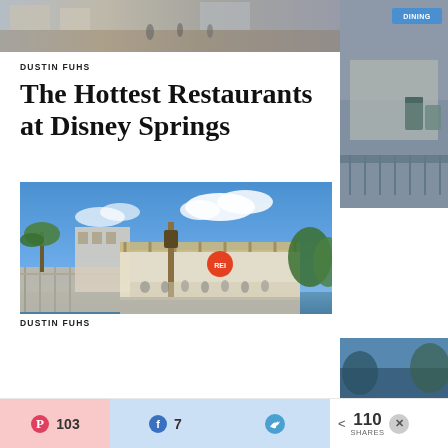[Figure (photo): Top banner photo of Disney Springs outdoor area with people walking, and a partial right-side photo showing outdoor area with trash bins and railing]
DUSTIN FUHS
The Hottest Restaurants at Disney Springs
[Figure (photo): Exterior photo of a waterfront restaurant at Disney Springs under a blue sky with white clouds, featuring a wooden pergola structure with a red circular sign, surrounded by palm trees and water]
DUSTIN FUHS
103  7  110 SHARES